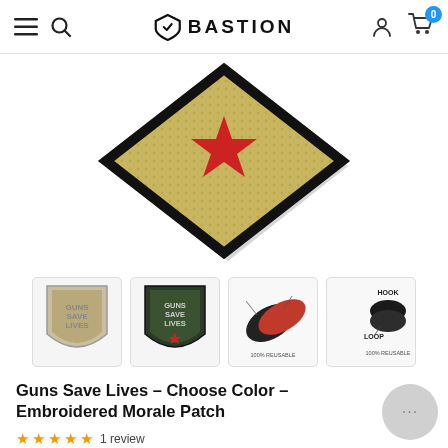BASTION (navigation bar with hamburger menu, search, user icon, cart with 0 items)
[Figure (photo): Close-up angled view of a 'Guns Save Lives' embroidered morale patch on tan/gold background with red star, black border, showing hook-and-loop backing]
[Figure (photo): Thumbnail 1: Tan/beige 'Guns Save Lives' shield-shaped embroidered patch]
[Figure (photo): Thumbnail 2: Olive/dark green 'Guns Save Lives' shield-shaped embroidered patch with red star]
[Figure (photo): Thumbnail 3: Diagram showing how patch attaches via hook-and-loop to bag material]
[Figure (photo): Thumbnail 4: Hook and Loop diagram showing black oval pieces labeled HOOK and LOOP, 100% REUSABLE]
Guns Save Lives – Choose Color – Embroidered Morale Patch
1 review (5 star rating)